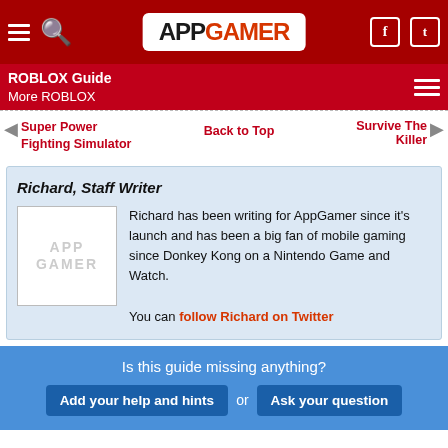APP GAMER
ROBLOX Guide
More ROBLOX
Super Power Fighting Simulator | Back to Top | Survive The Killer
Richard, Staff Writer
Richard has been writing for AppGamer since it's launch and has been a big fan of mobile gaming since Donkey Kong on a Nintendo Game and Watch.
You can follow Richard on Twitter
Is this guide missing anything?
Add your help and hints or Ask your question